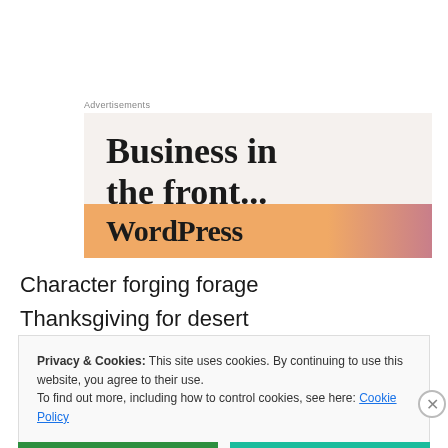Advertisements
[Figure (illustration): WordPress advertisement banner with large bold serif text reading 'Business in the front...' on a light beige background, with an orange-to-pink gradient bottom bar containing the WordPress logo/wordmark text partially visible.]
Character forging forage
Thanksgiving for desert
Privacy & Cookies: This site uses cookies. By continuing to use this website, you agree to their use.
To find out more, including how to control cookies, see here: Cookie Policy
Close and accept